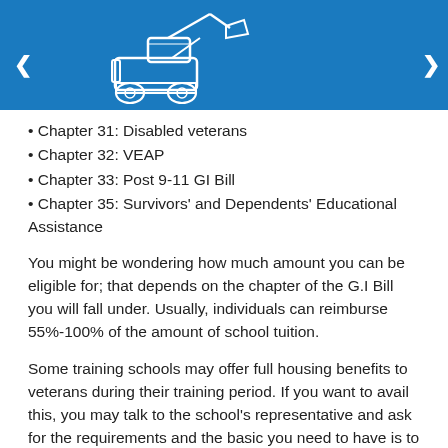[Figure (logo): Blue header bar with military vehicle/bulldozer logo in white, navigation icons on left and right]
Chapter 31: Disabled veterans
Chapter 32: VEAP
Chapter 33: Post 9-11 GI Bill
Chapter 35: Survivors' and Dependents' Educational Assistance
You might be wondering how much amount you can be eligible for; that depends on the chapter of the G.I Bill you will fall under. Usually, individuals can reimburse 55%-100% of the amount of school tuition.
Some training schools may offer full housing benefits to veterans during their training period. If you want to avail this, you may talk to the school's representative and ask for the requirements and the basic you need to have is to be honorably discharged from the service and submit Form DD214, while interview may also be conducted.